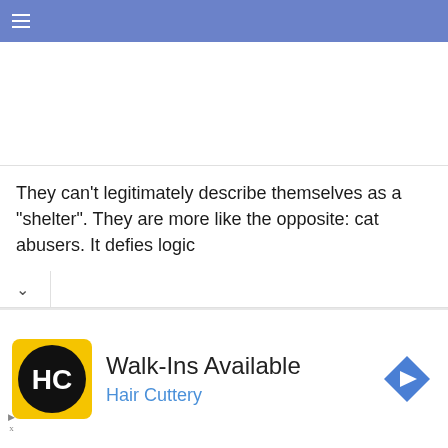☰
They can't legitimately describe themselves as a "shelter". They are more like the opposite: cat abusers. It defies logic
[Figure (screenshot): Advertisement banner for Hair Cuttery showing logo (HC in black circle on yellow background), text 'Walk-Ins Available' and 'Hair Cuttery' in blue, and a blue diamond-shaped arrow icon on the right.]